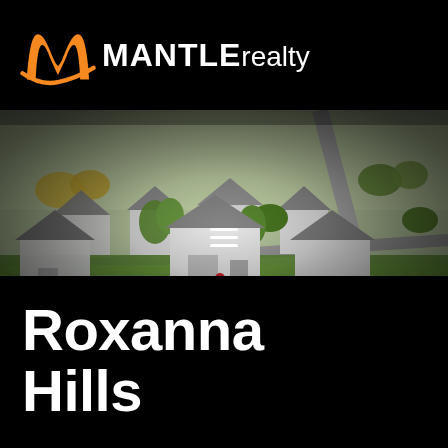[Figure (logo): MANTLE realty logo with orange stylized M icon on black background]
[Figure (photo): Aerial/tilt-shift photograph of a residential neighborhood called Roxanna Hills, showing houses with gray roofs, green lawns, and tree-lined streets]
Roxanna Hills